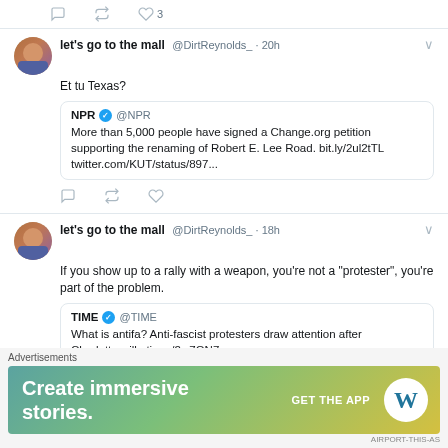[Figure (screenshot): Twitter/social media screenshot showing tweets from user 'let's go to the mall @DirtReynolds_'. Three tweets visible. First tweet (20h ago): 'Et tu Texas?' quoting NPR about 5,000 people signing a Change.org petition supporting renaming of Robert E. Lee Road. Second tweet (18h ago): 'If you show up to a rally with a weapon, you're not a "protester", you're part of the problem.' quoting TIME article about antifa. Third tweet (17h ago, partial): 'In the 1920's the KKK had 3 to 6 million members. Nearly 100 years later 50 of them can dominate the news.' Bottom shows WordPress advertisement: 'Create immersive stories. GET THE APP']